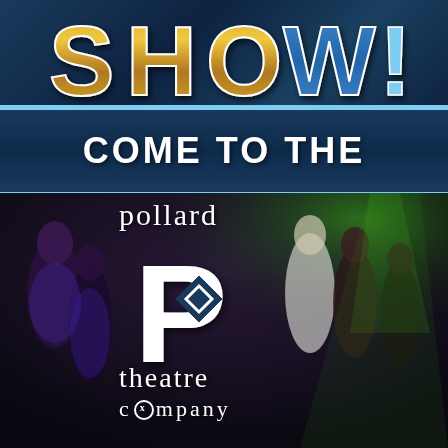[Figure (illustration): Top portion showing partial text 'SHOW!' in large decorative golden letters on dark blue background with theatrical lighting effects]
COME TO THE
[Figure (photo): Background photo of theatrical performers on stage with dramatic lighting]
pollard
[Figure (logo): Pollard Theatre Company logo - large white letter P with a diamond/rhombus cutout in the bowl]
theatre
company